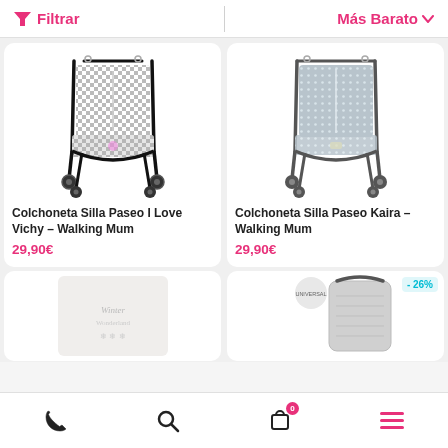Filtrar  |  Más Barato
[Figure (photo): Baby stroller with checkered pattern seat liner - Colchoneta Silla Paseo I Love Vichy Walking Mum]
Colchoneta Silla Paseo I Love Vichy – Walking Mum
29,90€
[Figure (photo): Baby stroller with dotted grey pattern seat liner - Colchoneta Silla Paseo Kaira Walking Mum]
Colchoneta Silla Paseo Kaira – Walking Mum
29,90€
[Figure (photo): White changing mat with decorative text]
[Figure (photo): Baby stroller carrier with grey pattern - discount badge -26%]
Phone | Search | Cart (0) | Menu